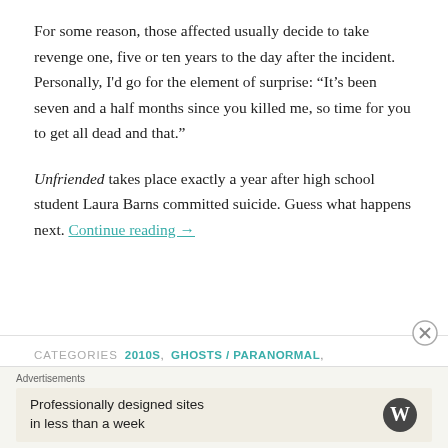For some reason, those affected usually decide to take revenge one, five or ten years to the day after the incident. Personally, I'd go for the element of surprise: “It's been seven and a half months since you killed me, so time for you to get all dead and that.”
Unfriended takes place exactly a year after high school student Laura Barns committed suicide. Guess what happens next. Continue reading →
CATEGORIES  2010S,  GHOSTS / PARANORMAL,  HANDHELD FOOTAGE,  REVIEWS  TAGS  FACEBOOK,  FEATURED,  FILM REVIEWS,  GHOSTS,  GOOGLE,  HORROR FILMS,  SKYPE,  SPOTIFY,  UNFRIENDED
Advertisements
Professionally designed sites in less than a week